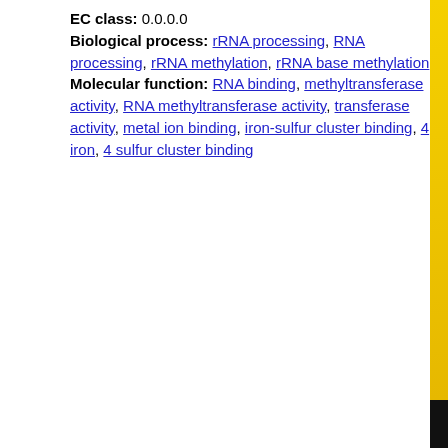EC class: 0.0.0.0
Biological process: rRNA processing, RNA processing, rRNA methylation, rRNA base methylation
Molecular function: RNA binding, methyltransferase activity, RNA methyltransferase activity, transferase activity, metal ion binding, iron-sulfur cluster binding, 4 iron, 4 sulfur cluster binding